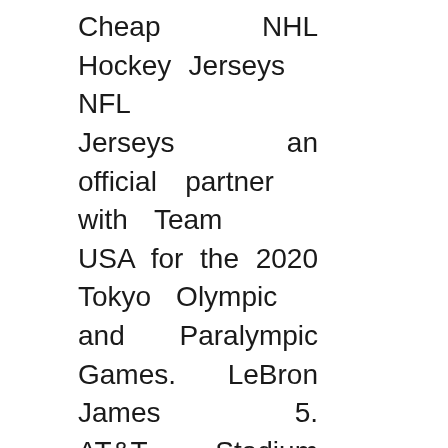Cheap NHL Hockey Jerseys NFL Jerseys an official partner with Team USA for the 2020 Tokyo Olympic and Paralympic Games. LeBron James 5. AT&T Stadium holds more than 100, so